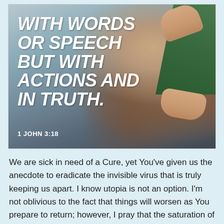[Figure (photo): A person hugging someone, with hands visible against a dark hoodie. Green sleeve visible at top right. Bold white italic text overlay reads: WITH WORDS OR SPEECH BUT WITH ACTIONS AND IN TRUTH. — 1 JOHN 3:18]
We are sick in need of a Cure, yet You've given us the anecdote to eradicate the invisible virus that is truly keeping us apart. I know utopia is not an option. I'm not oblivious to the fact that things will worsen as You prepare to return; however, I pray that the saturation of discord and rhetoric decreases, in the name of Jesus. Cut off the pipelines of hate on every side. I know it will never leave, but at least it doesn't have to thrive. Not